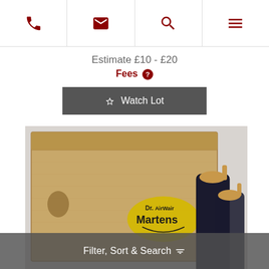Navigation bar with phone, email, search, and menu icons
Estimate £10 - £20
Fees ?
☆ Watch Lot
[Figure (photo): Dr. Martens AirWair branded cardboard box with two black leather Chelsea boots visible beside it, photographed on a light grey background.]
Filter, Sort & Search